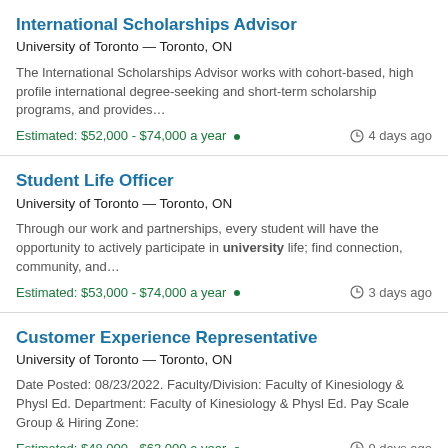International Scholarships Advisor
University of Toronto — Toronto, ON
The International Scholarships Advisor works with cohort-based, high profile international degree-seeking and short-term scholarship programs, and provides…
Estimated: $52,000 - $74,000 a year • 4 days ago
Student Life Officer
University of Toronto — Toronto, ON
Through our work and partnerships, every student will have the opportunity to actively participate in university life; find connection, community, and…
Estimated: $53,000 - $74,000 a year • 3 days ago
Customer Experience Representative
University of Toronto — Toronto, ON
Date Posted: 08/23/2022. Faculty/Division: Faculty of Kinesiology & Physl Ed. Department: Faculty of Kinesiology & Physl Ed. Pay Scale Group & Hiring Zone:
Estimated: $48,000 - $63,000 a year • 9 days ago